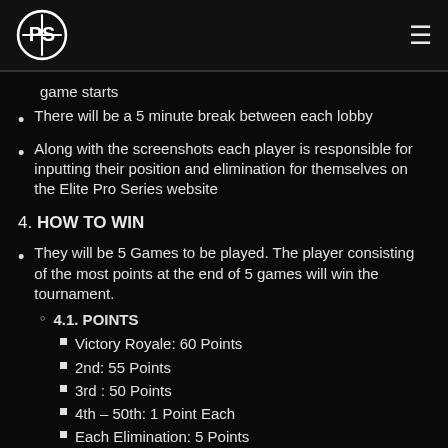Elite Pro Series logo and navigation
game starts
There will be a 5 minute break between each lobby
Along with the screenshots each player is responsible for inputting their position and elimination for themselves on the Elite Pro Series website
4. HOW TO WIN
They will be 5 Games to be played. The player consisting of the most points at the end of 5 games will win the tournament.
4.1. POINTS
Victory Royale: 60 Points
2nd: 55 Points
3rd : 50 Points
4th – 50th: 1 Point Each
Each Elimination: 5 Points